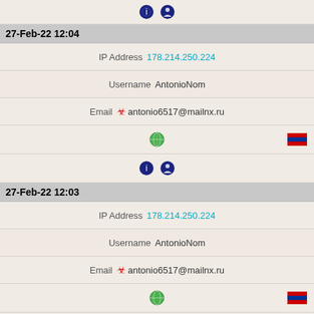[Figure (other): Two dark blue circular action icons at top]
27-Feb-22 12:04
IP Address 178.214.250.224
Username AntonioNom
Email antonio6517@mailnx.ru
[Figure (other): Globe icon left, Russian flag icon right]
[Figure (other): Two dark blue circular action icons]
27-Feb-22 12:03
IP Address 178.214.250.224
Username AntonioNom
Email antonio6517@mailnx.ru
[Figure (other): Globe icon left, Russian flag icon right]
[Figure (other): Two dark blue circular action icons]
27-Feb-22 12:01
IP Address 178.214.250.224
Username AntonioNom
Email antonio6517@mailnx.ru